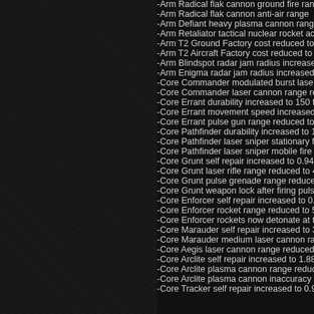-Arm Radical flak cannon ground fire ran
-Arm Radical flak cannon anti-air range
-Arm Defiant heavy plasma cannon rang
-Arm Retaliator tactical nuclear rocket ac
-Arm T2 Ground Factory cost reduced to
-Arm T2 Aircraft Factory cost reduced to
-Arm Blindspot radar jam radius increase
-Arm Enigma radar jam radius increased
-Core Commander modulated burst lase
-Core Commander laser cannon range re
-Core Errant durability increased to 150 f
-Core Errant movement speed increased
-Core Errant pulse gun range reduced to
-Core Pathfinder durability increased to 1
-Core Pathfinder laser sniper stationary f
-Core Pathfinder laser sniper mobile fire
-Core Grunt self repair increased to 0.94
-Core Grunt laser rifle range reduced to 4
-Core Grunt pulse grenade range reduce
-Core Grunt weapon lock after firing puls
-Core Enforcer self repair increased to 0.
-Core Enforcer rocket range reduced to 5
-Core Enforcer rockets now detonate at t
-Core Marauder self repair increased to 3
-Core Marauder medium laser cannon ra
-Core Aegis laser cannon range reduced
-Core Arclite self repair increased to 1.88
-Core Arclite plasma cannon range reduc
-Core Arclite plasma cannon inaccuracy
-Core Tracker self repair increased to 0.9